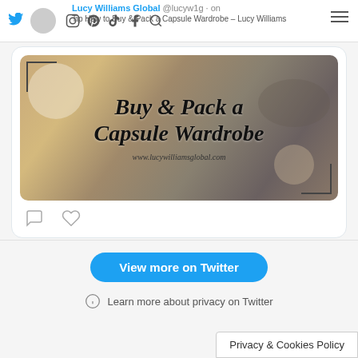Lucy Williams Global @lucyw1g · on · Tip How to Buy & Pack a Capsule Wardrobe – Lucy Williams Global butt.ly/3m7NbeF
[Figure (screenshot): Blog post thumbnail image with cursive/script text reading 'Buy & Pack a Capsule Wardrobe' and website URL www.lucywilliamsglobal.com, on a background of packed clothing items]
View more on Twitter
Learn more about privacy on Twitter
Privacy & Cookies Policy